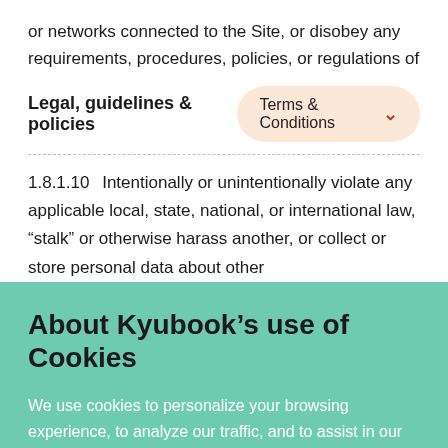or networks connected to the Site, or disobey any requirements, procedures, policies, or regulations of
Legal, guidelines & policies
[Figure (other): Terms & Conditions dropdown pill button with chevron]
1.8.1.10  Intentionally or unintentionally violate any applicable local, state, national, or international law, "stalk" or otherwise harass another, or collect or store personal data about other
About Kyubook’s use of Cookies
We use cookies to personalize your browsing experience, to analyze our traffic, and to assist in our marketing efforts. By using our Website, you agree to our use of cookies as set forth in our Cookies Policy.
Okay